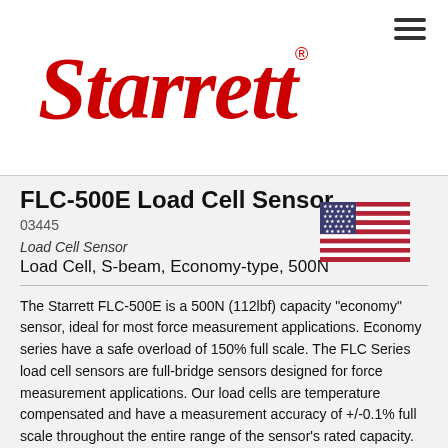[Figure (logo): Starrett logo in red with registered trademark symbol]
FLC-500E Load Cell Sensor
03445
Load Cell Sensor
Load Cell, S-beam, Economy-type, 500N
[Figure (illustration): US flag illustration]
The Starrett FLC-500E is a 500N (112lbf) capacity "economy" sensor, ideal for most force measurement applications. Economy series have a safe overload of 150% full scale. The FLC Series load cell sensors are full-bridge sensors designed for force measurement applications. Our load cells are temperature compensated and have a measurement accuracy of +/-0.1% full scale throughout the entire range of the sensor's rated capacity. FLC Series load cell sensors have been designed for use on FMS Series force measurement test frames. These sensors feature TEDS identification per IEEE 1451.4 so they are "plug & play ready". All sensor characterization and calibration data is stored within the sensor's